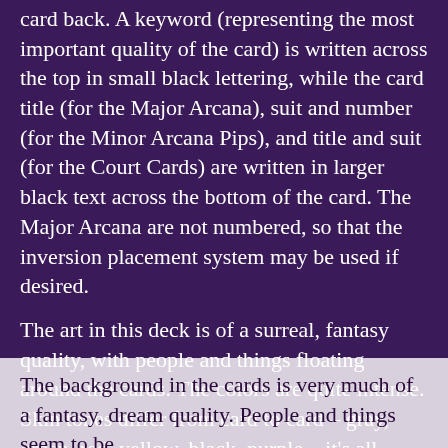card back. A keyword (representing the most important quality of the card) is written across the top in small black lettering, while the card title (for the Major Arcana), suit and number (for the Minor Arcana Pips), and title and suit (for the Court Cards) are written in larger black text across the bottom of the card. The Major Arcana are not numbered, so that the inversion placement system may be used if desired.
The art in this deck is of a surreal, fantasy quality, with people and things floating around the cards. The colors are quite intense. Skin tones differ from card to card – gray, green, red, yellow, black, purple – it's all there! The figures seem posed – as if they are in some type of formal dance movement.
The background in the cards is very much of a fantasy, dream quality. People and things seem to be